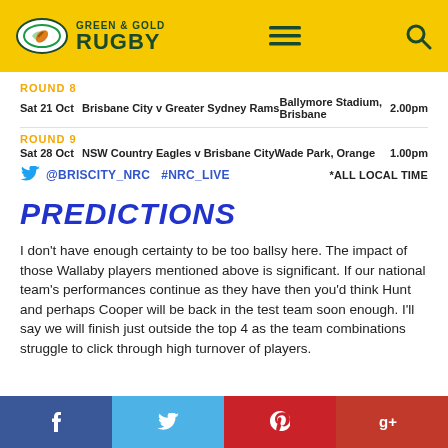[Figure (logo): Green & Gold Rugby logo with gold header background, hamburger menu icon, and search icon]
ROUND 8
Sat 21 Oct   Brisbane City v Greater Sydney Rams   Ballymore Stadium, Brisbane   2.00pm
ROUND 9
Sat 28 Oct   NSW Country Eagles v Brisbane City   Wade Park, Orange   1.00pm
@BRISCITY_NRC  #NRC_LIVE   *ALL LOCAL TIME
PREDICTIONS
I don't have enough certainty to be too ballsy here. The impact of those Wallaby players mentioned above is significant. If our national team's performances continue as they have then you'd think Hunt and perhaps Cooper will be back in the test team soon enough. I'll say we will finish just outside the top 4 as the team combinations struggle to click through high turnover of players.
[Figure (infographic): Social sharing bar with Facebook, Twitter, Pinterest, and Google+ buttons]